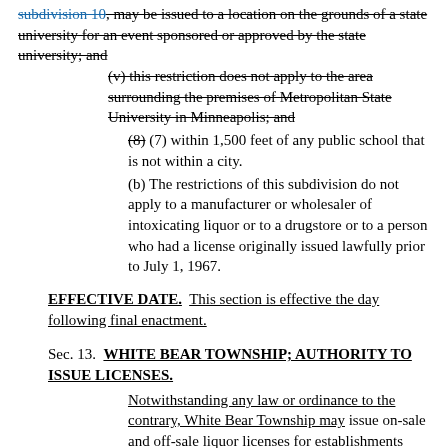subdivision 10, may be issued to a location on the grounds of a state university for an event sponsored or approved by the state university; and (v) this restriction does not apply to the area surrounding the premises of Metropolitan State University in Minneapolis; and
(8) (7) within 1,500 feet of any public school that is not within a city.
(b) The restrictions of this subdivision do not apply to a manufacturer or wholesaler of intoxicating liquor or to a drugstore or to a person who had a license originally issued lawfully prior to July 1, 1967.
EFFECTIVE DATE. This section is effective the day following final enactment.
Sec. 13. WHITE BEAR TOWNSHIP; AUTHORITY TO ISSUE LICENSES.
Notwithstanding any law or ordinance to the contrary, White Bear Township may issue on-sale and off-sale liquor licenses for establishments